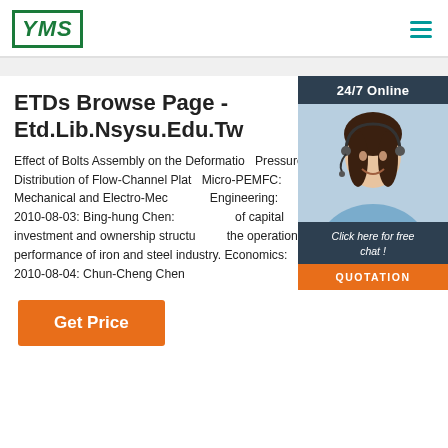[Figure (logo): YMS logo in green box with italic bold text]
ETDs Browse Page - Etd.Lib.Nsysu.Edu.Tw
[Figure (photo): Woman wearing headset smiling, with 24/7 Online banner, Click here for free chat! text, and QUOTATION button overlay panel]
Effect of Bolts Assembly on the Deformation Pressure Distribution of Flow-Channel Plate Micro-PEMFC: Mechanical and Electro-Mechanical Engineering: 2010-08-03: Bing-hung Chen: of capital investment and ownership structure on the operational performance of iron and steel industry. Economics: 2010-08-04: Chun-Cheng Chen
Get Price